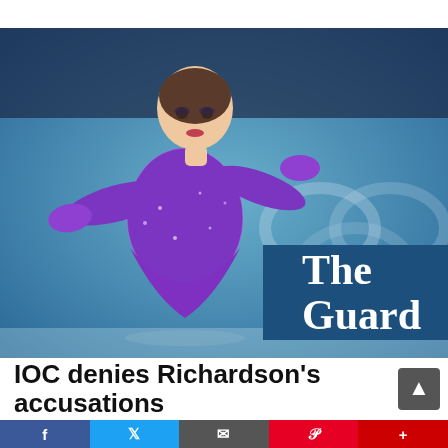[Figure (photo): A young female figure skater wearing a sparkling purple dress mid-performance on ice, looking downward. Olympic rings visible in the blurred background. The Guardian logo appears in the bottom-right corner of the image.]
IOC denies Richardson's accusations
[Figure (infographic): Social media sharing bar with Facebook, Twitter, email, Pinterest, and plus buttons]